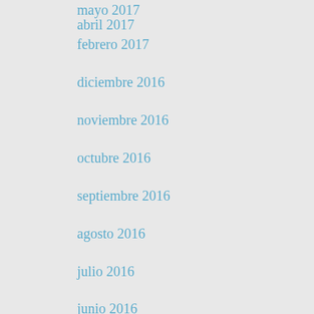mayo 2017
abril 2017
febrero 2017
diciembre 2016
noviembre 2016
octubre 2016
septiembre 2016
agosto 2016
julio 2016
junio 2016
mayo 2016
abril 2016
marzo 2016
febrero 2016
enero 2016
diciembre 2015
noviembre 2015
octubre 2015
septiembre 2015
agosto 2015
julio 2015